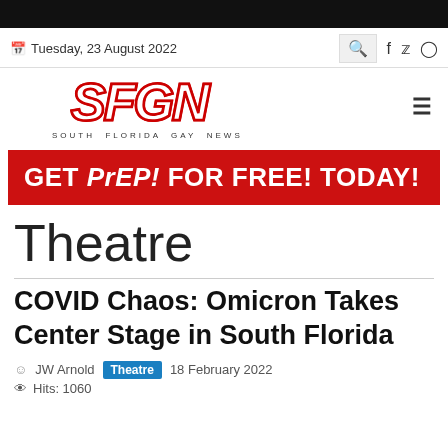Tuesday, 23 August 2022
[Figure (logo): SFGN South Florida Gay News logo]
[Figure (infographic): Red advertisement banner: GET PrEP! FOR FREE! TODAY!]
Theatre
COVID Chaos: Omicron Takes Center Stage in South Florida
JW Arnold   Theatre   18 February 2022
Hits: 1060